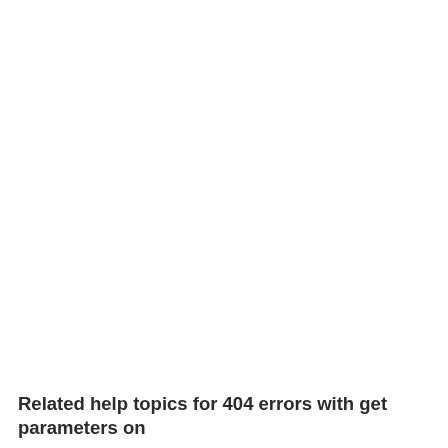Related help topics for 404 errors with get parameters on